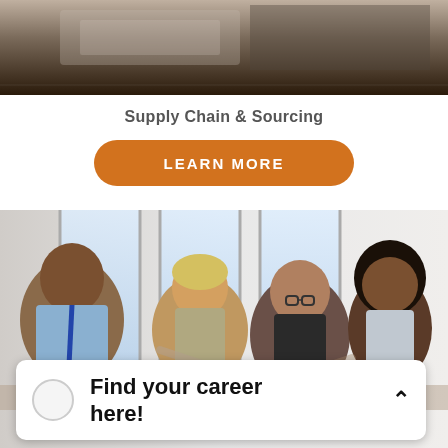[Figure (photo): Partial photo at top of page showing a dark blurred scene, likely an office or industrial setting]
Supply Chain & Sourcing
LEARN MORE
[Figure (photo): Group of four diverse professionals sitting together and talking in a bright office environment with large windows]
Find your career here!